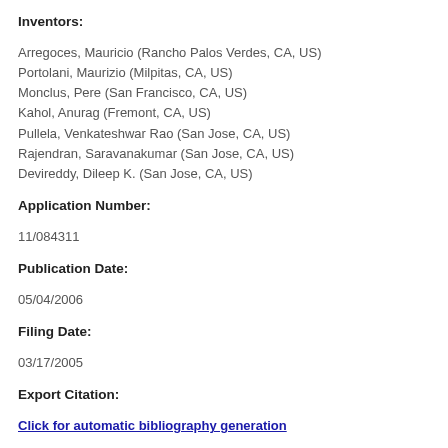Inventors:
Arregoces, Mauricio (Rancho Palos Verdes, CA, US)
Portolani, Maurizio (Milpitas, CA, US)
Monclus, Pere (San Francisco, CA, US)
Kahol, Anurag (Fremont, CA, US)
Pullela, Venkateshwar Rao (San Jose, CA, US)
Rajendran, Saravanakumar (San Jose, CA, US)
Devireddy, Dileep K. (San Jose, CA, US)
Application Number:
11/084311
Publication Date:
05/04/2006
Filing Date:
03/17/2005
Export Citation:
Click for automatic bibliography generation
Assignee: